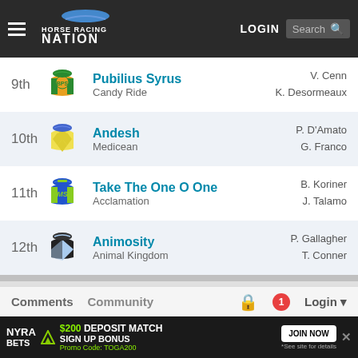Horse Racing Nation — LOGIN — Search
9th — Pubilius Syrus — Candy Ride — V. Cenn / K. Desormeaux
10th — Andesh — Medicean — P. D'Amato / G. Franco
11th — Take The One O One — Acclamation — B. Koriner / J. Talamo
12th — Animosity — Animal Kingdom — P. Gallagher / T. Conner
Horse Racing Nation Comment Policy
Please read our Comment Policy before commenting.
Comments   Community   Login
[Figure (infographic): NYRA BETS advertisement banner: $200 DEPOSIT MATCH SIGN UP BONUS — JOIN NOW — Promo Code: TOGA200]